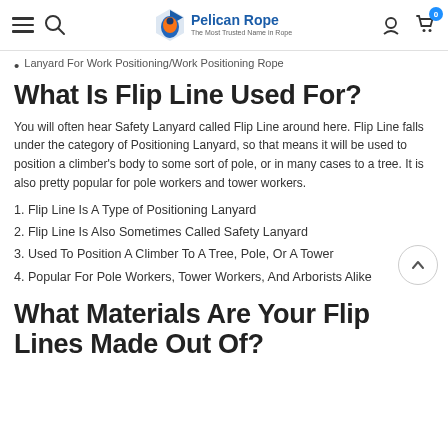Pelican Rope — The Most Trusted Name in Rope
Lanyard For Work Positioning/Work Positioning Rope
What Is Flip Line Used For?
You will often hear Safety Lanyard called Flip Line around here. Flip Line falls under the category of Positioning Lanyard, so that means it will be used to position a climber's body to some sort of pole, or in many cases to a tree. It is also pretty popular for pole workers and tower workers.
Flip Line Is A Type of Positioning Lanyard
Flip Line Is Also Sometimes Called Safety Lanyard
Used To Position A Climber To A Tree, Pole, Or A Tower
Popular For Pole Workers, Tower Workers, And Arborists Alike
What Materials Are Your Flip Lines Made Out Of?